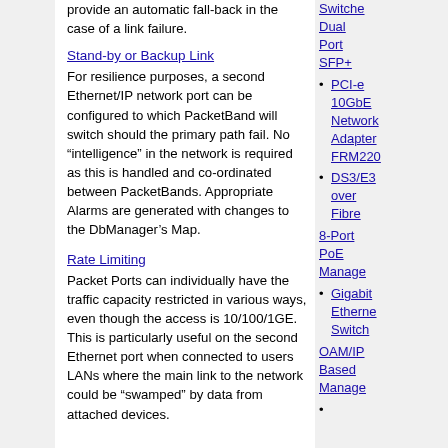provide an automatic fall-back in the case of a link failure.
Stand-by or Backup Link
For resilience purposes, a second Ethernet/IP network port can be configured to which PacketBand will switch should the primary path fail. No “intelligence” in the network is required as this is handled and co-ordinated between PacketBands. Appropriate Alarms are generated with changes to the DbManager’s Map.
Rate Limiting
Packet Ports can individually have the traffic capacity restricted in various ways, even though the access is 10/100/1GE. This is particularly useful on the second Ethernet port when connected to users LANs where the main link to the network could be “swamped” by data from attached devices.
Dual Port SFP+
PCI-e 10GbE Network Adapter FRM220
DS3/E3 over Fibre
8-Port PoE Managed Gigabit Ethernet Switch
OAM/IP Based Management